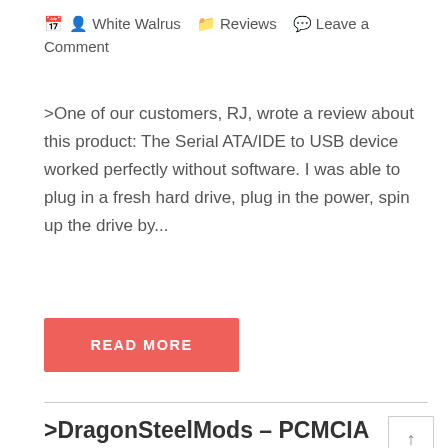White Walrus   Reviews   Leave a Comment
>One of our customers, RJ, wrote a review about this product: The Serial ATA/IDE to USB device worked perfectly without software. I was able to plug in a fresh hard drive, plug in the power, spin up the drive by...
READ MORE
>DragonSteelMods – PCMCIA Tv Tuner/Vid Capture/Fm/Remote Card for laptop